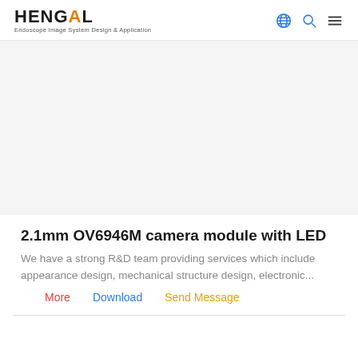HENGAL — Endoscope Image System Design & Application
[Figure (photo): Product image area for 2.1mm OV6946M camera module with LED (image not loaded/white space)]
2.1mm OV6946M camera module with LED
We have a strong R&D team providing services which include appearance design, mechanical structure design, electronic...
More   Download   Send Message